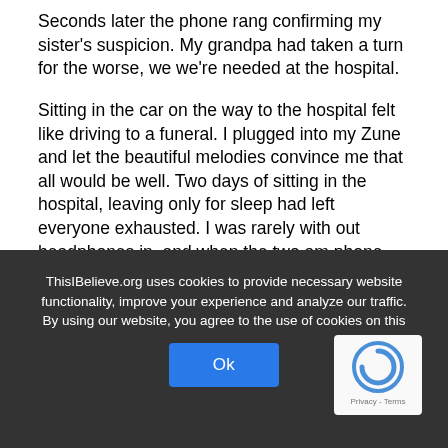Seconds later the phone rang confirming my sister's suspicion. My grandpa had taken a turn for the worse, we we're needed at the hospital.
Sitting in the car on the way to the hospital felt like driving to a funeral. I plugged into my Zune and let the beautiful melodies convince me that all would be well. Two days of sitting in the hospital, leaving only for sleep had left everyone exhausted. I was rarely with out headphones in, and when the two am phone call came that they were removing life support and that our presence was required, it was no exception. A week later
ThisIBelieve.org uses cookies to provide necessary website functionality, improve your experience and analyze our traffic. By using our website, you agree to the use of cookies on this